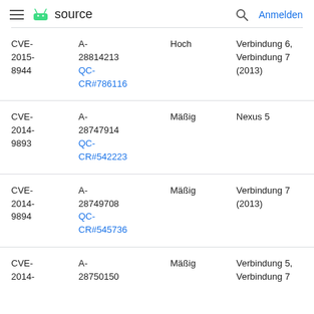≡ 🤖 source   🔍 Anmelden
| CVE | Referenzen | Schwere | Aktualisierte Nexus-Geräte | Version |
| --- | --- | --- | --- | --- |
| CVE-2015-8944 | A-28814213 QC-CR#786116 | Hoch | Verbindung 6, Verbindung 7 (2013) | 3 2 |
| CVE-2014-9893 | A-28747914 QC-CR#542223 | Mäßig | Nexus 5 | 2 2 |
| CVE-2014-9894 | A-28749708 QC-CR#545736 | Mäßig | Verbindung 7 (2013) | 3 2 |
| CVE-2014- | A-28750150 | Mäßig | Verbindung 5, Verbindung 7 | 3 2 |